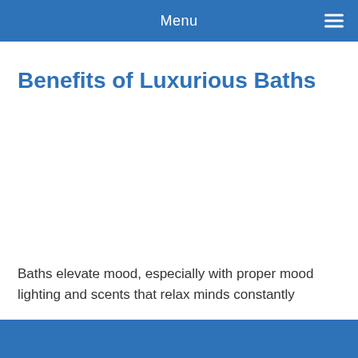Menu
Benefits of Luxurious Baths
Baths elevate mood, especially with proper mood lighting and scents that relax minds constantly